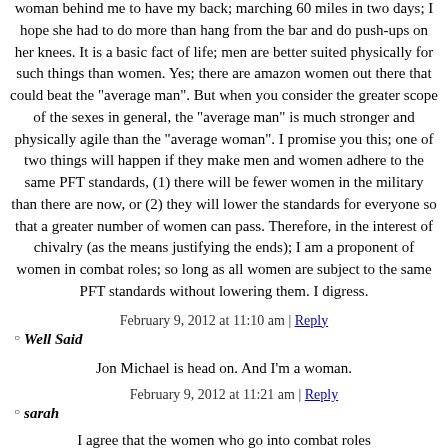woman behind me to have my back; marching 60 miles in two days; I hope she had to do more than hang from the bar and do push-ups on her knees. It is a basic fact of life; men are better suited physically for such things than women. Yes; there are amazon women out there that could beat the "average man". But when you consider the greater scope of the sexes in general, the "average man" is much stronger and physically agile than the "average woman". I promise you this; one of two things will happen if they make men and women adhere to the same PFT standards, (1) there will be fewer women in the military than there are now, or (2) they will lower the standards for everyone so that a greater number of women can pass. Therefore, in the interest of chivalry (as the means justifying the ends); I am a proponent of women in combat roles; so long as all women are subject to the same PFT standards without lowering them. I digress.
February 9, 2012 at 11:10 am | Reply
Well Said
Jon Michael is head on. And I'm a woman.
February 9, 2012 at 11:21 am | Reply
sarah
I agree that the women who go into combat roles